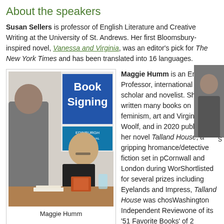About the speakers
Susan Sellers is professor of English Literature and Creative Writing at the University of St. Andrews. Her first Bloomsbury-inspired novel, Vanessa and Virginia, was an editor's pick for The New York Times and has been translated into 16 languages.
[Figure (photo): Photo of Maggie Humm at a book signing event at Edinburgh International Book Festival, seated at a table with books, a 'Book Signing' banner visible in the background.]
Maggie Humm
Maggie Humm is an Emeritus Professor, international Woolf scholar and novelist. She has written many books on feminism, art and Virginia Woolf, and in 2020 published her novel Talland House, a gripping historical romance/detective fiction set in pre-war Cornwall and London during World War II. Shortlisted for several prizes including Eyelands and Impress, Talland House was chosen by Washington Independent Review of Books as one of its '51 Favorite Books' of 2020.
[Figure (photo): Partial portrait photo of Susan Sellers on the right side of the page.]